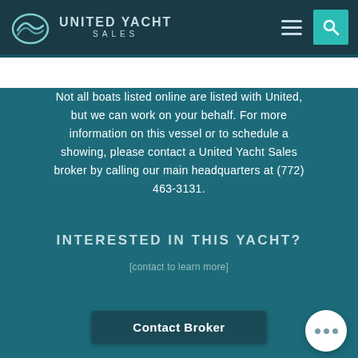[Figure (logo): United Yacht Sales logo with crescent/wave icon and company name]
Not all boats listed online are listed with United, but we can work on your behalf. For more information on this vessel or to schedule a showing, please contact a United Yacht Sales broker by calling our main headquarters at (772) 463-3131.
INTERESTED IN THIS YACHT?
[contact to learn more]
Contact Broker
First
Last